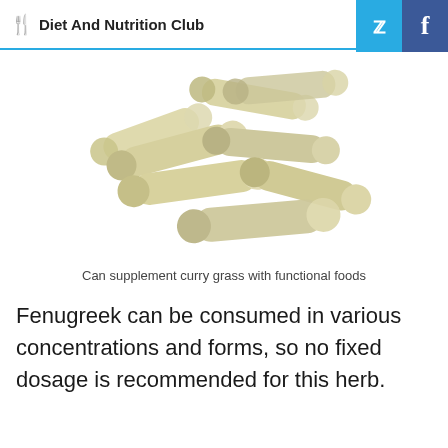Diet And Nutrition Club
[Figure (photo): A pile of beige/tan herbal supplement capsules/pills on a white background]
Can supplement curry grass with functional foods
Fenugreek can be consumed in various concentrations and forms, so no fixed dosage is recommended for this herb.